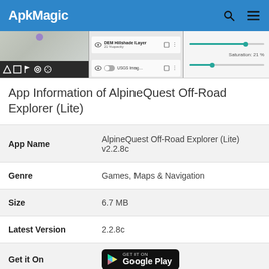ApkMagic
[Figure (screenshot): Screenshots of AlpineQuest Off-Road Explorer app showing map view with toolbar, layer settings panel with DEM Hillshade Layer and USGS imagery options, and saturation slider at 21%]
App Information of AlpineQuest Off-Road Explorer (Lite)
| Field | Value |
| --- | --- |
| App Name | AlpineQuest Off-Road Explorer (Lite) v2.2.8c |
| Genre | Games, Maps & Navigation |
| Size | 6.7 MB |
| Latest Version | 2.2.8c |
| Get it On | [Google Play badge] |
| Update | 2021-04-19 |